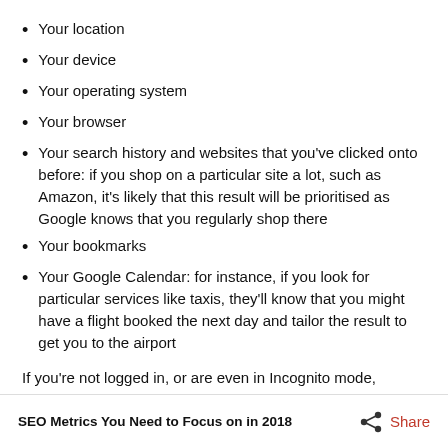Your location
Your device
Your operating system
Your browser
Your search history and websites that you've clicked onto before: if you shop on a particular site a lot, such as Amazon, it's likely that this result will be prioritised as Google knows that you regularly shop there
Your bookmarks
Your Google Calendar: for instance, if you look for particular services like taxis, they'll know that you might have a flight booked the next day and tailor the result to get you to the airport
If you're not logged in, or are even in Incognito mode,
SEO Metrics You Need to Focus on in 2018   Share